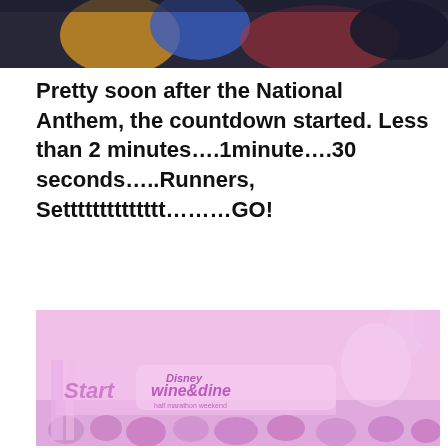[Figure (photo): Top portion of a photo showing people at what appears to be a running event, dark background with colorful clothing visible]
Pretty soon after the National Anthem, the countdown started. Less than 2 minutes….1minute….30 seconds…..Runners, Setttttttttttttt………GO!
[Figure (photo): Disney Wine & Dine race start line with pink/purple tinted photo showing the start banner with Disney Wine & Dine logo, Mickey Mouse figure, and crowd of runners]